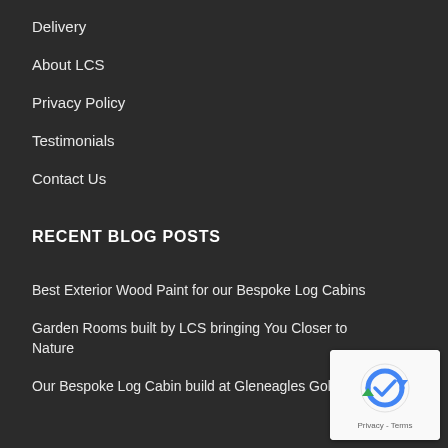Delivery
About LCS
Privacy Policy
Testimonials
Contact Us
RECENT BLOG POSTS
Best Exterior Wood Paint for our Bespoke Log Cabins
Garden Rooms built by LCS bringing You Closer to Nature
Our Bespoke Log Cabin build at Gleneagles Golf Course
[Figure (other): reCAPTCHA widget with Privacy and Terms links]